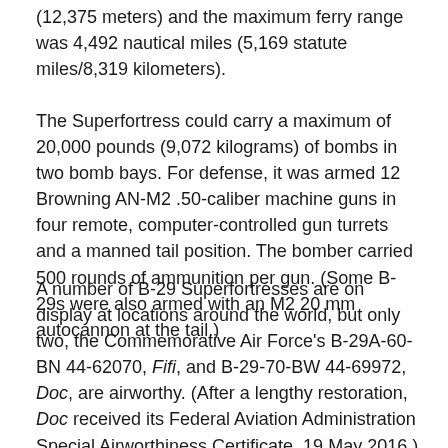(12,375 meters) and the maximum ferry range was 4,492 nautical miles (5,169 statute miles/8,319 kilometers).
The Superfortress could carry a maximum of 20,000 pounds (9,072 kilograms) of bombs in two bomb bays. For defense, it was armed 12 Browning AN-M2 .50-caliber machine guns in four remote, computer-controlled gun turrets and a manned tail position. The bomber carried 500 rounds of ammunition per gun. (Some B-29s were also armed with an M2 20 mm autocannon at the tail.)
A number of B-29 Superfortresses are on display at locations around the world, but only two, the Commemorative Air Force's B-29A-60-BN 44-62070, Fifi, and B-29-70-BW 44-69972, Doc, are airworthy. (After a lengthy restoration, Doc received its Federal Aviation Administration Special Airworthiness Certificate, 19 May 2016.)